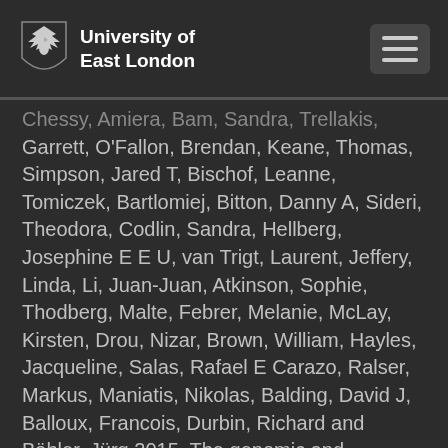University of East London
Chessy, Amiera, Bam, Sandra, Trellakis, Garrett, O'Fallon, Brendan, Keane, Thomas, Simpson, Jared T, Bischof, Leanne, Tomiczek, Bartlomiej, Bitton, Danny A, Sideri, Theodora, Codlin, Sandra, Hellberg, Josephine E E U, van Trigt, Laurent, Jeffery, Linda, Li, Juan-Juan, Atkinson, Sophie, Thodberg, Malte, Febrer, Melanie, McLay, Kirsten, Drou, Nizar, Brown, William, Hayles, Jacqueline, Salas, Rafael E Carazo, Ralser, Markus, Maniatis, Nikolas, Balding, David J, Balloux, Francois, Durbin, Richard and Bähler, Jürg 2015. The genomic and phenotypic diversity of Schizosaccharomyces pombe. Nature